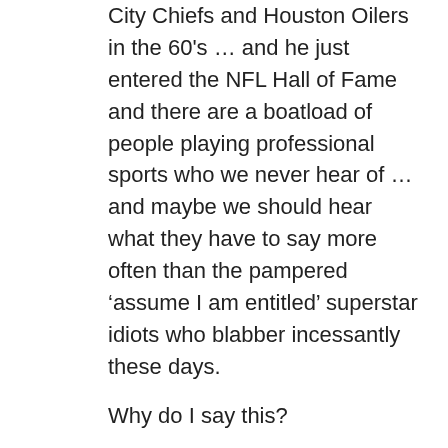City Chiefs and Houston Oilers in the 60's … and he just entered the NFL Hall of Fame and there are a boatload of people playing professional sports who we never hear of … and maybe we should hear what they have to say more often than the pampered 'assume I am entitled' superstar idiots who blabber incessantly these days.
Why do I say this?